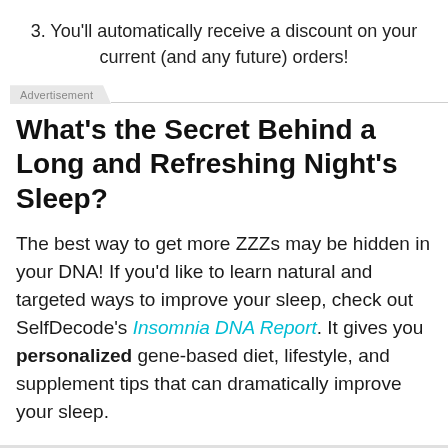3. You'll automatically receive a discount on your current (and any future) orders!
Advertisement
What's the Secret Behind a Long and Refreshing Night's Sleep?
The best way to get more ZZZs may be hidden in your DNA! If you'd like to learn natural and targeted ways to improve your sleep, check out SelfDecode's Insomnia DNA Report. It gives you personalized gene-based diet, lifestyle, and supplement tips that can dramatically improve your sleep.
Improve My Sleep